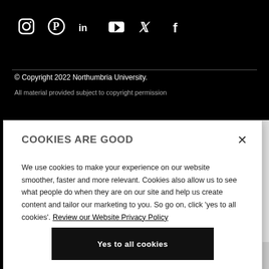[Figure (other): Social media icons row: Instagram, Pinterest, LinkedIn, YouTube, Twitter, Facebook — white icons on black background]
© Copyright 2022 Northumbria University.
All material provided subject to copyright permission
COOKIES ARE GOOD
We use cookies to make your experience on our website smoother, faster and more relevant. Cookies also allow us to see what people do when they are on our site and help us create content and tailor our marketing to you. So go on, click 'yes to all cookies'. Review our Website Privacy Policy
Yes to all cookies
Let me choose
Student Terms and Conduct Expectations